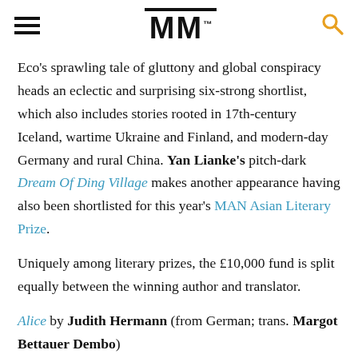MM
Eco's sprawling tale of gluttony and global conspiracy heads an eclectic and surprising six-strong shortlist, which also includes stories rooted in 17th-century Iceland, wartime Ukraine and Finland, and modern-day Germany and rural China. Yan Lianke's pitch-dark Dream Of Ding Village makes another appearance having also been shortlisted for this year's MAN Asian Literary Prize.
Uniquely among literary prizes, the £10,000 fund is split equally between the winning author and translator.
Alice by Judith Hermann (from German; trans. Margot Bettauer Dembo)